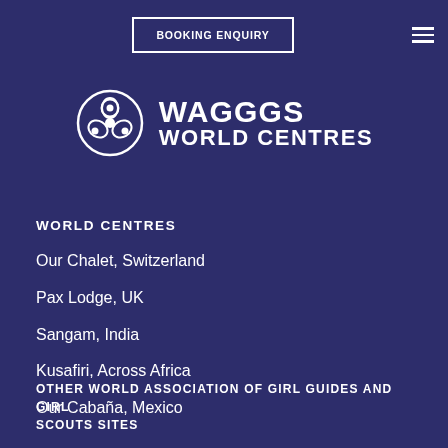[Figure (logo): WAGGGS circular trefoil logo in white on dark navy background, top left corner]
BOOKING ENQUIRY
[Figure (logo): WAGGGS World Centres logo: circular trefoil icon beside text WAGGGS WORLD CENTRES]
WORLD CENTRES
Our Chalet, Switzerland
Pax Lodge, UK
Sangam, India
Kusafiri, Across Africa
Our Cabaña, Mexico
OTHER WORLD ASSOCIATION OF GIRL GUIDES AND GIRL SCOUTS SITES